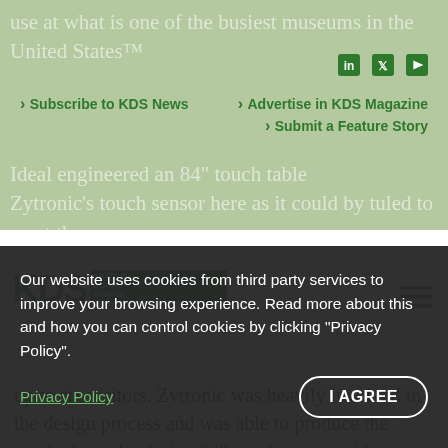use at what is one of the busiest museums in the United States™
Subscribe to KDS News | Advertise in KDS Magazine | Submit a Feature Story
Ideal engineered an 84" touch table
Zytronic's touch sensor here as it could be tuned to meet the applications, and was able to deliver the multi-touch capabilities required to support simultaneous use by up to six visitors. Zytronic was heavily involved in the design process and was able to produce the single, bespoke design 84" touch sensor without any of the upcharges that often accompany custom work from other touchscreen manufacturers. The ZyBrid® touch sensor was designed using 6mm-thick thermally toughened Anti-Glare etched
aluminium for additional durability.
Our website uses cookies from third party services to improve your browsing experience. Read more about this and how you can control cookies by clicking "Privacy Policy".
Privacy Policy
I AGREE